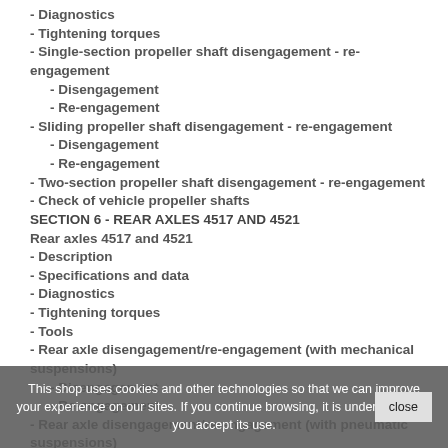- Diagnostics
- Tightening torques
- Single-section propeller shaft disengagement - re-engagement
- Disengagement
- Re-engagement
- Sliding propeller shaft disengagement - re-engagement
- Disengagement
- Re-engagement
- Two-section propeller shaft disengagement - re-engagement
- Check of vehicle propeller shafts
SECTION 6 - REAR AXLES 4517 AND 4521
Rear axles 4517 and 4521
- Description
- Specifications and data
- Diagnostics
- Tightening torques
- Tools
- Rear axle disengagement/re-engagement (with mechanical suspensions)
- Disengagement
- Re-engagement
- Rear axle disengagement/re-engagement (with pneumatic suspensions)
This shop uses cookies and other technologies so that we can improve your experience on our sites. If you continue browsing, it is understood that you accept its use.